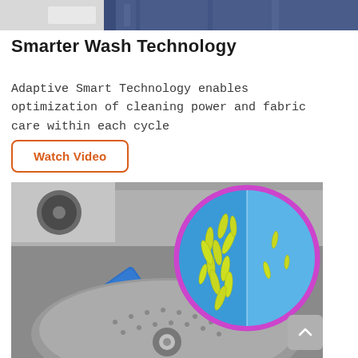[Figure (photo): Partial top strip of an image showing denim jeans on a washing machine]
Smarter Wash Technology
Adaptive Smart Technology enables optimization of cleaning power and fabric care within each cycle
Watch Video
[Figure (photo): Top-loading washing machine drum viewed from above with a blue agitator fin and a circular inset showing bacteria before and after (many green rod-shaped bacteria on the left half, only a few on the right half), with a purple ring around the circle]